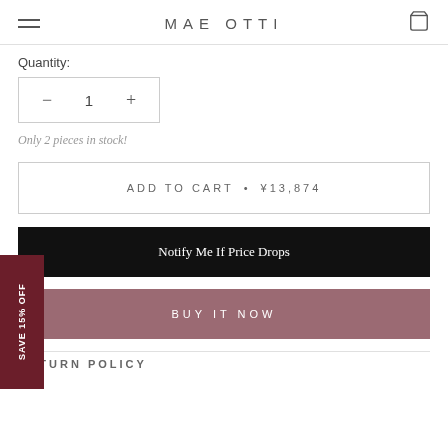MAE OTTI
Quantity:
− 1 +
Only 2 pieces in stock!
ADD TO CART • ¥13,874
Notify Me If Price Drops
BUY IT NOW
RETURN POLICY
SAVE 15% OFF